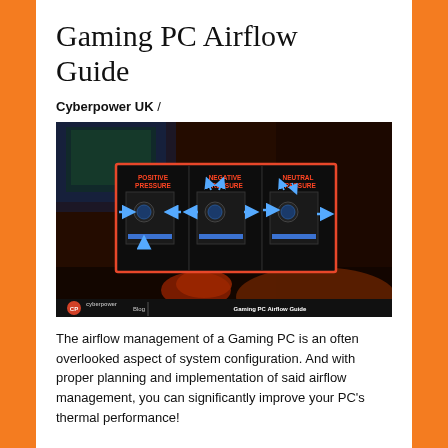Gaming PC Airflow Guide
Cyberpower UK /
[Figure (screenshot): Cyberpower UK blog header image showing three PC cases illustrating Positive Pressure, Negative Pressure, and Neutral Pressure airflow configurations with blue arrows indicating airflow direction. Bottom bar shows 'Blog | Gaming PC Airflow Guide' with Cyberpower logo.]
The airflow management of a Gaming PC is an often overlooked aspect of system configuration. And with proper planning and implementation of said airflow management, you can significantly improve your PC's thermal performance!